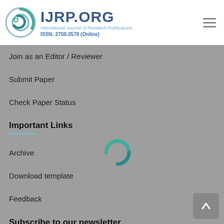IJRP.ORG — International Journal of Research Publications — ISSN: 2708-3578 (Online)
Join as an Editor / Reviewer
Submit Paper
Check Paper Status
Important Links
[Figure (other): Loading spinner (circular arc indicator in teal/dark teal)]
Archive
Download template
Feedback
Subscribe to our newsletter